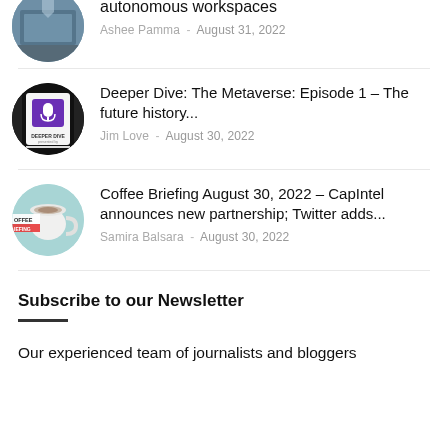autonomous workspaces
Ashee Pamma - August 31, 2022
Deeper Dive: The Metaverse: Episode 1 – The future history...
Jim Love - August 30, 2022
Coffee Briefing August 30, 2022 – CapIntel announces new partnership; Twitter adds...
Samira Balsara - August 30, 2022
Subscribe to our Newsletter
Our experienced team of journalists and bloggers